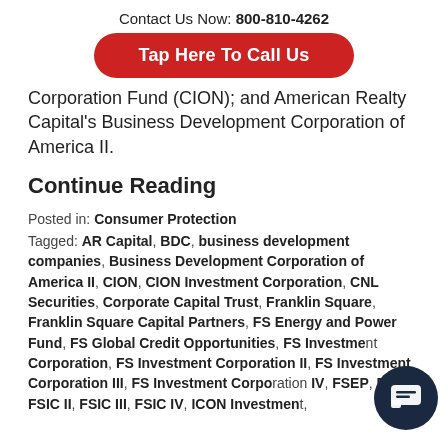Contact Us Now: 800-810-4262
Tap Here To Call Us
Corporation Fund (CION); and American Realty Capital's Business Development Corporation of America II.
Continue Reading
Posted in: Consumer Protection
Tagged: AR Capital, BDC, business development companies, Business Development Corporation of America II, CION, CION Investment Corporation, CNL Securities, Corporate Capital Trust, Franklin Square, Franklin Square Capital Partners, FS Energy and Power Fund, FS Global Credit Opportunities, FS Investment Corporation, FS Investment Corporation II, FS Investment Corporation III, FS Investment Corporation IV, FSEP, FSIC, FSIC II, FSIC III, FSIC IV, ICON Investment,